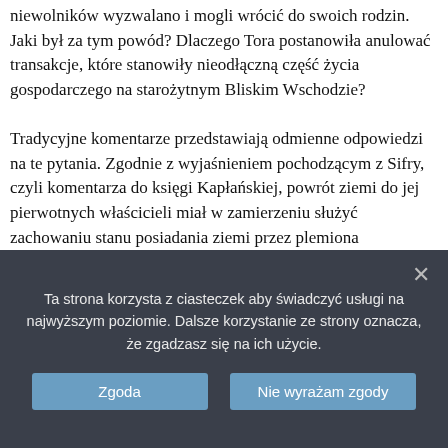niewolników wyzwalano i mogli wrócić do swoich rodzin. Jaki był za tym powód? Dlaczego Tora postanowiła anulować transakcje, które stanowiły nieodłączną część życia gospodarczego na starożytnym Bliskim Wschodzie?

Tradycyjne komentarze przedstawiają odmienne odpowiedzi na te pytania. Zgodnie z wyjaśnieniem pochodzącym z Sifry, czyli komentarza do księgi Kapłańskiej, powrót ziemi do jej pierwotnych właścicieli miał w zamierzeniu służyć zachowaniu stanu posiadania ziemi przez plemiona izraelickie, zapewniając tym samym między nimi pokój. Sifra stwierdza również, że izraelickich niewolników uwalniano dlatego, iż stan zniewolenia uniemożliwiał im służenie ich prawdziwemu panu – czyli Bogu – z pełnym, niczym nieograniczonym oddaniem. Średniowieczny hiszpański komentator
Ta strona korzysta z ciasteczek aby świadczyć usługi na najwyższym poziomie. Dalsze korzystanie ze strony oznacza, że zgadzasz się na ich użycie.
Zgoda
Nie wyrażam zgody